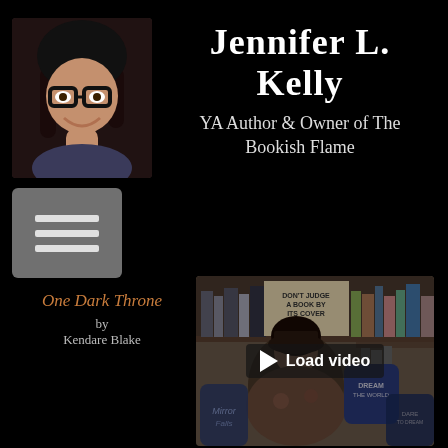[Figure (photo): Profile photo of Jennifer L. Kelly, a woman with dark hair and glasses, smiling]
Jennifer L. Kelly
YA Author & Owner of The Bookish Flame
[Figure (illustration): Hamburger menu button (three horizontal lines) on a grey rounded rectangle background]
One Dark Throne
by
Kendare Blake
[Figure (screenshot): Video thumbnail showing a person sitting on a couch with decorative pillows and bookshelves in the background, with a 'Load video' play button overlay]